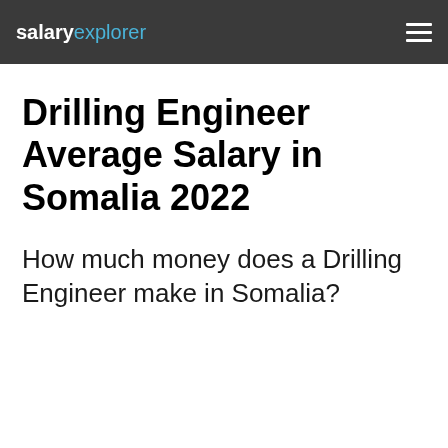salaryexplorer
Drilling Engineer Average Salary in Somalia 2022
How much money does a Drilling Engineer make in Somalia?